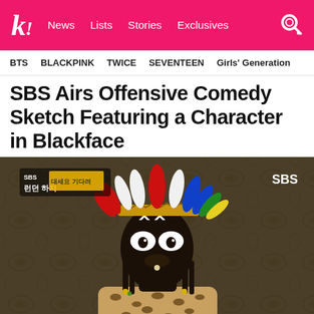k! News Lists Stories Exclusives
BTS   BLACKPINK   TWICE   SEVENTEEN   Girls' Generation
SBS Airs Offensive Comedy Sketch Featuring a Character in Blackface
[Figure (photo): Screenshot from SBS TV show featuring a person in blackface makeup wearing a colorful Native American-style feathered headdress with red, white, blue, green, and yellow feathers, and a leopard print costume. The SBS logo appears in the upper right corner. A Korean TV show logo appears in the upper left corner.]